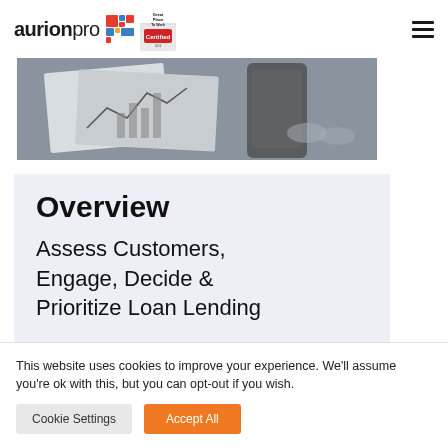aurionpro
[Figure (photo): Business/financial documents and charts on a desk with mobile phone and glasses, grayscale overhead photo]
Overview
Assess Customers, Engage, Decide & Prioritize Loan Lending
This website uses cookies to improve your experience. We'll assume you're ok with this, but you can opt-out if you wish.